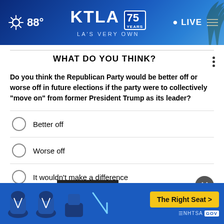88° KTLA 75 YEARS LA'S VERY OWN LIVE
WHAT DO YOU THINK?
Do you think the Republican Party would be better off or worse off in future elections if the party were to collectively "move on" from former President Trump as its leader?
Better off
Worse off
It wouldn't make a difference
Other / No opinion
NEXT *
* By continuing you agree to our Terms of Service and confirm you have read our Privacy Policy.
[Figure (infographic): NHTSA car seat safety advertisement banner with car seat icons and 'The Right Seat >' button]